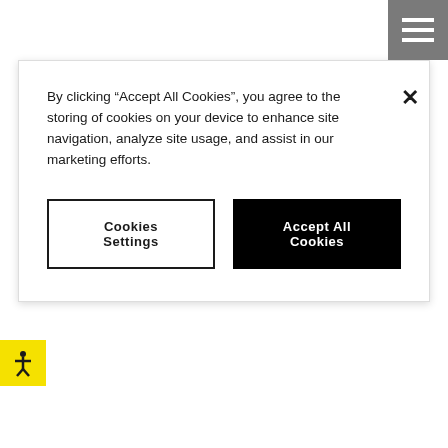[Figure (screenshot): Hamburger menu icon with three white horizontal lines on gray background]
By clicking “Accept All Cookies”, you agree to the storing of cookies on your device to enhance site navigation, analyze site usage, and assist in our marketing efforts.
Cookies Settings
Accept All Cookies
[Figure (logo): Accessibility icon: stick figure with arms outstretched on yellow background]
Main Street Bridge photo by Ryan Ketterman
Transparency in Coverage Disclosures